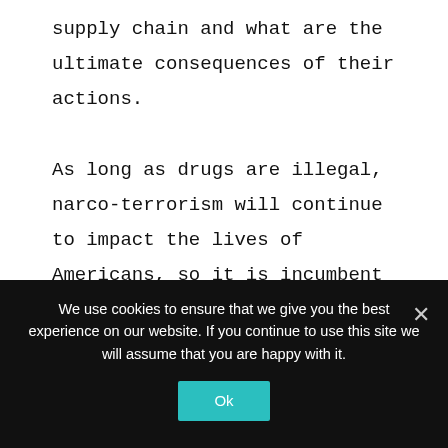supply chain and what are the ultimate consequences of their actions.

As long as drugs are illegal, narco-terrorism will continue to impact the lives of Americans, so it is incumbent on police to use the drug laws to dismantle terrorist and criminal organizations. While there are many negative, unintended outcomes from the war on drugs, one unmistakable benefit is the utility of stringent drug laws to incarcerate violent criminals. Members of those criminal and terrorist
We use cookies to ensure that we give you the best experience on our website. If you continue to use this site we will assume that you are happy with it.